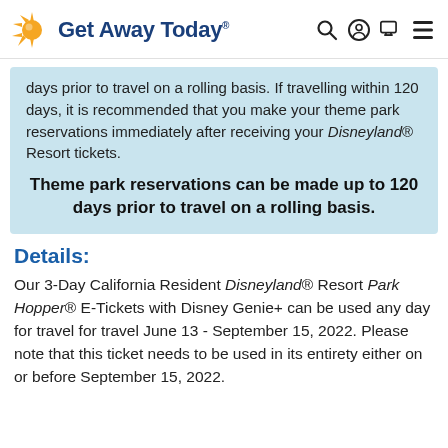Get Away Today®
days prior to travel on a rolling basis. If travelling within 120 days, it is recommended that you make your theme park reservations immediately after receiving your Disneyland® Resort tickets.
Theme park reservations can be made up to 120 days prior to travel on a rolling basis.
Details:
Our 3-Day California Resident Disneyland® Resort Park Hopper® E-Tickets with Disney Genie+ can be used any day for travel for travel June 13 - September 15, 2022. Please note that this ticket needs to be used in its entirety either on or before September 15, 2022.